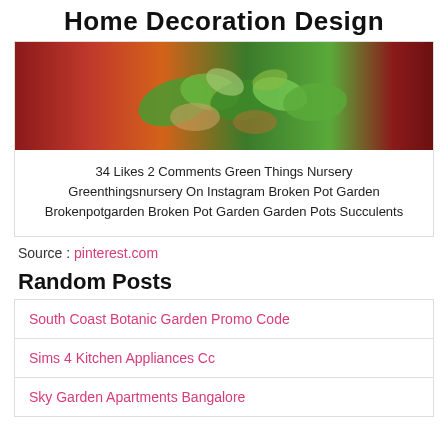Home Decoration Design
[Figure (photo): Photo of succulent plants and green foliage in broken pots with orange, red, and dark background colors]
34 Likes 2 Comments Green Things Nursery Greenthingsnursery On Instagram Broken Pot Garden Brokenpotgarden Broken Pot Garden Garden Pots Succulents
Source : pinterest.com
Random Posts
South Coast Botanic Garden Promo Code
Sims 4 Kitchen Appliances Cc
Sky Garden Apartments Bangalore